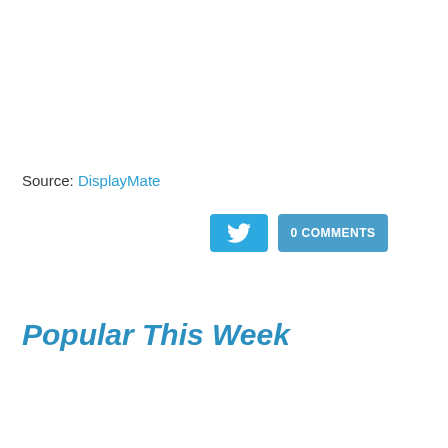Source: DisplayMate
[Figure (screenshot): Twitter share button and 0 COMMENTS button]
Popular This Week